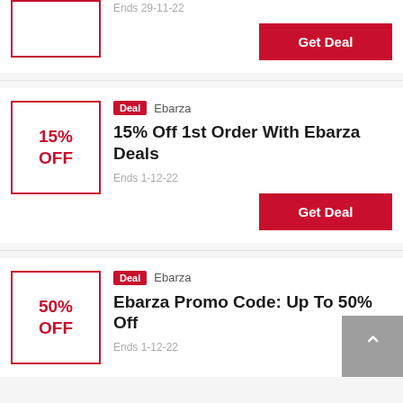[Figure (other): Partial deal card at top: discount box with red border, ends date '29-11-22', and 'Get Deal' red button]
Ends 29-11-22
Get Deal
Deal  Ebarza
15% Off 1st Order With Ebarza Deals
15% OFF
Ends 1-12-22
Get Deal
Deal  Ebarza
Ebarza Promo Code: Up To 50% Off
50% OFF
Ends 1-12-22